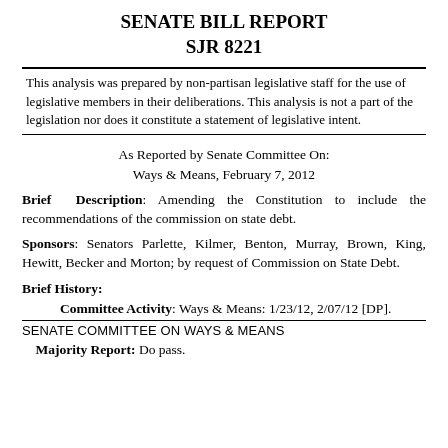SENATE BILL REPORT
SJR 8221
This analysis was prepared by non-partisan legislative staff for the use of legislative members in their deliberations. This analysis is not a part of the legislation nor does it constitute a statement of legislative intent.
As Reported by Senate Committee On:
Ways & Means, February 7, 2012
Brief Description: Amending the Constitution to include the recommendations of the commission on state debt.
Sponsors: Senators Parlette, Kilmer, Benton, Murray, Brown, King, Hewitt, Becker and Morton; by request of Commission on State Debt.
Brief History:
Committee Activity: Ways & Means: 1/23/12, 2/07/12 [DP].
SENATE COMMITTEE ON WAYS & MEANS
Majority Report: Do pass.